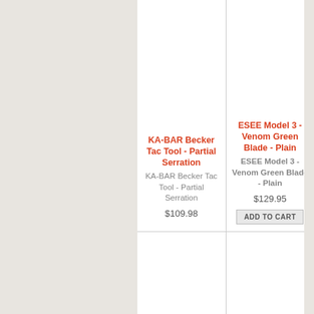[Figure (screenshot): E-commerce product grid showing two product cells. Left cell: KA-BAR Becker Tac Tool - Partial Serration priced at $109.98. Right cell: ESEE Model 3 - Venom Green Blade - Plain priced at $129.95 with ADD TO CART button. A second empty row of two cells appears below.]